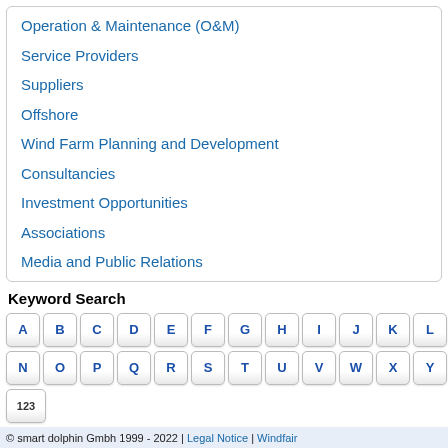Operation & Maintenance (O&M)
Service Providers
Suppliers
Offshore
Wind Farm Planning and Development
Consultancies
Investment Opportunities
Associations
Media and Public Relations
Keyword Search
A B C D E F G H I J K L M N O P Q R S T U V W X Y Z 123
© smart dolphin Gmbh 1999 - 2022 | Legal Notice | Windfair